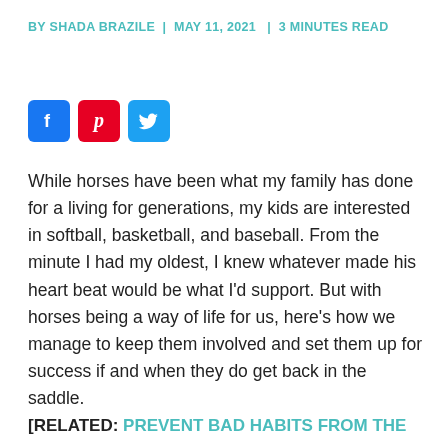BY SHADA BRAZILE | MAY 11, 2021 | 3 MINUTES READ
[Figure (illustration): Social media share icons: Facebook (blue), Pinterest (red), Twitter (light blue)]
While horses have been what my family has done for a living for generations, my kids are interested in softball, basketball, and baseball. From the minute I had my oldest, I knew whatever made his heart beat would be what I'd support. But with horses being a way of life for us, here's how we manage to keep them involved and set them up for success if and when they do get back in the saddle.
[RELATED: PREVENT BAD HABITS FROM THE